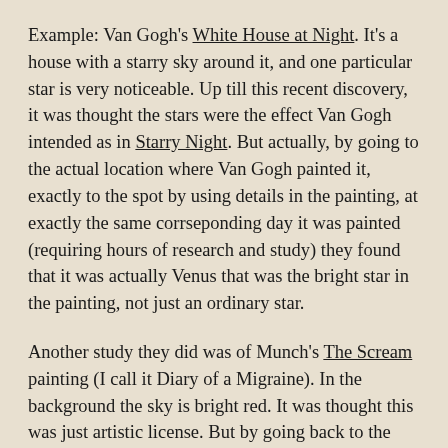Example: Van Gogh's White House at Night. It's a house with a starry sky around it, and one particular star is very noticeable. Up till this recent discovery, it was thought the stars were the effect Van Gogh intended as in Starry Night. But actually, by going to the actual location where Van Gogh painted it, exactly to the spot by using details in the painting, at exactly the same corrseponding day it was painted (requiring hours of research and study) they found that it was actually Venus that was the bright star in the painting, not just an ordinary star.
Another study they did was of Munch's The Scream painting (I call it Diary of a Migraine). In the background the sky is bright red. It was thought this was just artistic license. But by going back to the exact year it was painted, to the exact location, and going through historical records, they found that it was the ash in the sky from the eruption at Mt. Krakatoa that made the background actually appear red. They assert that Munsh painted it as he saw it, and perhaps the expression on the figure's face was in reaction to that scary sky.